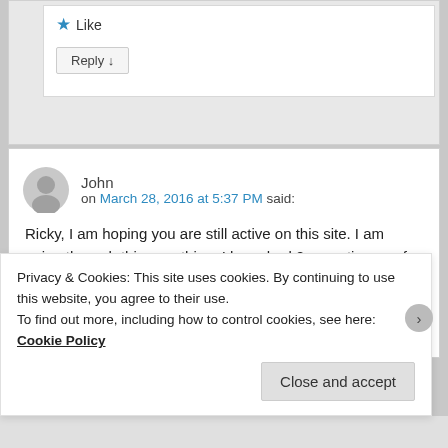Like
Reply ↓
John on March 28, 2016 at 5:37 PM said:
Ricky, I am hoping you are still active on this site. I am going through this very thing. I have had 2 operations so far and have 2
Privacy & Cookies: This site uses cookies. By continuing to use this website, you agree to their use.
To find out more, including how to control cookies, see here: Cookie Policy
Close and accept